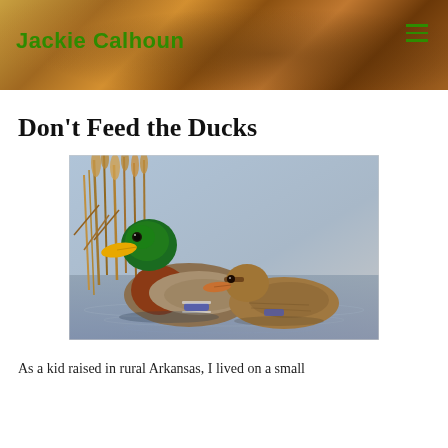Jackie Calhoun
Don't Feed the Ducks
[Figure (photo): Two mallard ducks swimming on water in front of dried reeds. The male duck has a green iridescent head and orange bill, with chestnut brown chest and patterned brown/grey body. The female duck is brown with a smaller orange-tipped bill.]
As a kid raised in rural Arkansas, I lived on a small